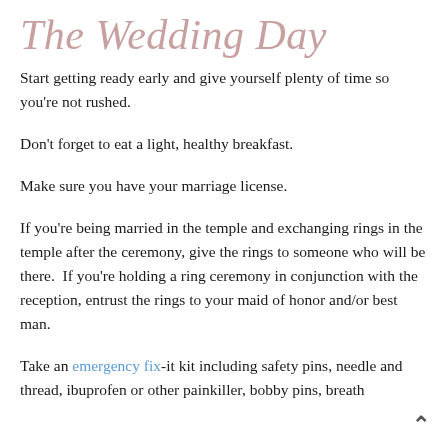The Wedding Day
Start getting ready early and give yourself plenty of time so you're not rushed.
Don't forget to eat a light, healthy breakfast.
Make sure you have your marriage license.
If you're being married in the temple and exchanging rings in the temple after the ceremony, give the rings to someone who will be there.  If you're holding a ring ceremony in conjunction with the reception, entrust the rings to your maid of honor and/or best man.
Take an emergency fix-it kit including safety pins, needle and thread, ibuprofen or other painkiller, bobby pins, breath